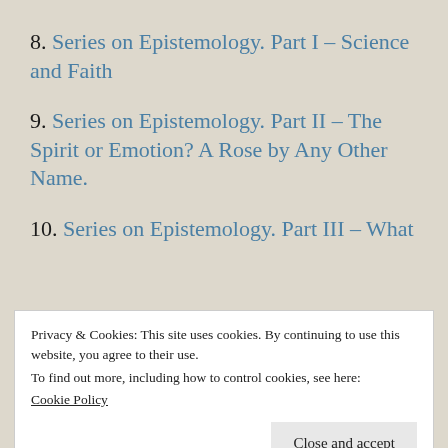8. Series on Epistemology. Part I – Science and Faith
9. Series on Epistemology. Part II – The Spirit or Emotion? A Rose by Any Other Name.
10. Series on Epistemology. Part III – What
Privacy & Cookies: This site uses cookies. By continuing to use this website, you agree to their use.
To find out more, including how to control cookies, see here: Cookie Policy
Mormonism and Violence